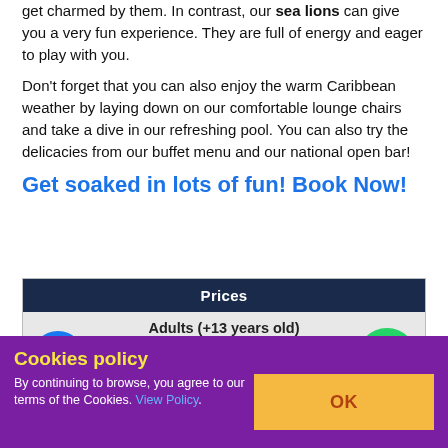get charmed by them. In contrast, our sea lions can give you a very fun experience. They are full of energy and eager to play with you.
Don't forget that you can also enjoy the warm Caribbean weather by laying down on our comfortable lounge chairs and take a dive in our refreshing pool. You can also try the delicacies from our buffet menu and our national open bar!
Get soaked in lots of fun! Book Now!
| Prices |
| --- |
| Adults (+13 years old) | Regular Price: | $199USD | $ 139.3USD |
Cookies policy
By continuing to browse, you agree to our terms of the Cookies. View Policy.